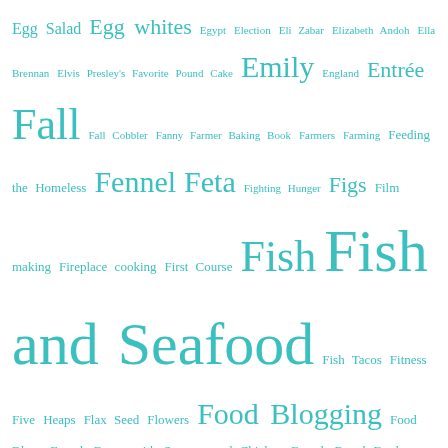[Figure (infographic): Tag cloud with food and cooking related terms in teal/turquoise color, varying font sizes to indicate frequency/importance. Terms include: Egg Salad, Egg whites, Egypt, Election, Eli Zabar, Elizabeth Andoh, Ella Brennan, Elvis Presley's Favorite Pound Cake, Emily, England, Entrée, Fall, Fall Cobbler, Fanny Farmer Baking Book, Farmers, Farming, Feeding the Homeless, Fennel, Feta, Fighting Hunger, Figs, Film making, Fireplace cooking, First Course, Fish, Fish and Seafood, Fish Tacos, Fitness, Five Heaps, Flax Seed, Flowers, Food Blogging, Food Blogs, French Beans with Sausage and Chicken, French Bread, Fresh cheese, Fresh peas, Fresh Salsa Mexicana from Jerez, Friday Fish, Fried Cheese, Frittata, Frontera, Frozen Salmon, Frozen Yogurt, Fruit, Gabby, Gael Greene, galette, Game Hens, Garden, Garlic, Gifts, Ginger, Gingerbread, Ginger Cookies, Ginger Ice Cream, Ginger Rutabaga Mash, Gingersnap, Gluten-Free, Gluten-]